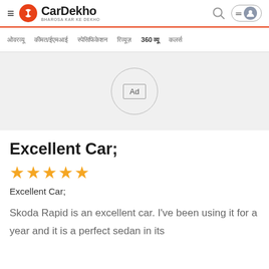CarDekho — BHAROSA KAR KE DEKHO
Navigation: [Hindi nav items] 360 [Hindi] [Hindi]
[Figure (other): Advertisement placeholder circle with 'Ad' label on grey background]
Excellent Car;
★★★★★
Excellent Car;
Skoda Rapid is an excellent car. I've been using it for a year and it is a perfect sedan in its